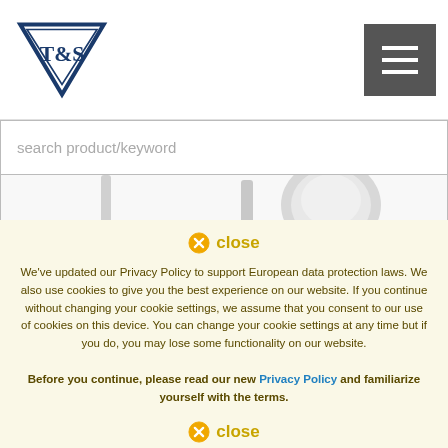[Figure (logo): T&S brand logo — inverted triangle shape with dark navy blue outline, 'T&S' text inside in serif style]
[Figure (other): Hamburger menu button — dark grey square with three horizontal white lines]
search product/keyword
[Figure (photo): Partial view of stainless steel plumbing/faucet hardware products on white background]
close
We've updated our Privacy Policy to support European data protection laws. We also use cookies to give you the best experience on our website. If you continue without changing your cookie settings, we assume that you consent to our use of cookies on this device. You can change your cookie settings at any time but if you do, you may lose some functionality on our website.
Before you continue, please read our new Privacy Policy and familiarize yourself with the terms.
close